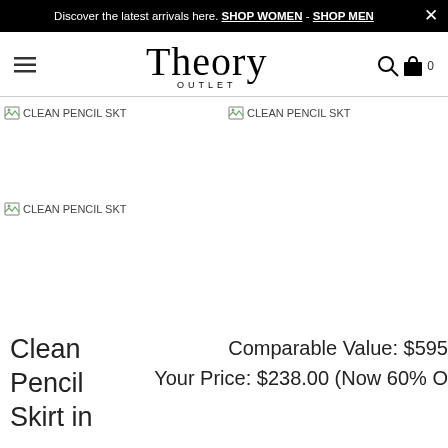Discover the latest arrivals here. SHOP WOMEN - SHOP MEN
[Figure (screenshot): Theory Outlet website navigation bar with hamburger menu, Theory Outlet logo, search and cart icons]
[Figure (photo): Broken image placeholder for CLEAN PENCIL SKT product (left)]
[Figure (photo): Broken image placeholder for CLEAN PENCIL SKT product (right)]
[Figure (photo): Broken image placeholder for CLEAN PENCIL SKT product (bottom large)]
Clean Pencil Skirt in
Comparable Value: $595
Your Price: $238.00 (Now 60% O